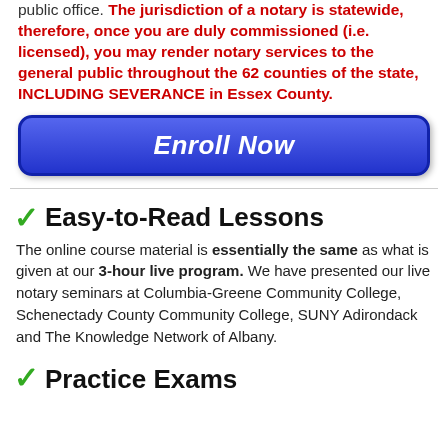public office. The jurisdiction of a notary is statewide, therefore, once you are duly commissioned (i.e. licensed), you may render notary services to the general public throughout the 62 counties of the state, INCLUDING SEVERANCE in Essex County.
[Figure (other): Blue rounded rectangle button with italic bold white text reading 'Enroll Now']
Easy-to-Read Lessons
The online course material is essentially the same as what is given at our 3-hour live program. We have presented our live notary seminars at Columbia-Greene Community College, Schenectady County Community College, SUNY Adirondack and The Knowledge Network of Albany.
Practice Exams